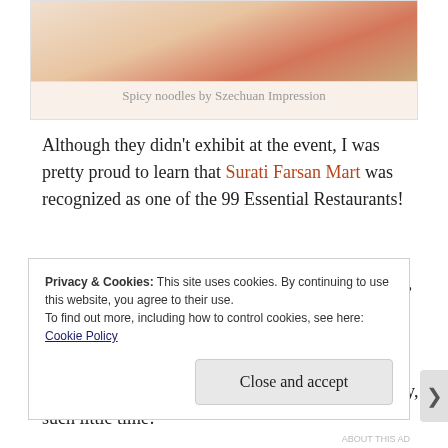[Figure (photo): Photo of spicy noodles dish, reddish-orange sauce, from Szechuan Impression]
Spicy noodles by Szechuan Impression
Although they didn't exhibit at the event, I was pretty proud to learn that Surati Farsan Mart was recognized as one of the 99 Essential Restaurants!
Wine, cocktails and spirits also flowed at the event, and there was even vodka made from sweet potatoes. Oh, and how could I forget shouting out Philippe The Original and their OG French dip sandwich? There was so much food and drink to try, such little time!
Privacy & Cookies: This site uses cookies. By continuing to use this website, you agree to their use.
To find out more, including how to control cookies, see here: Cookie Policy
Close and accept